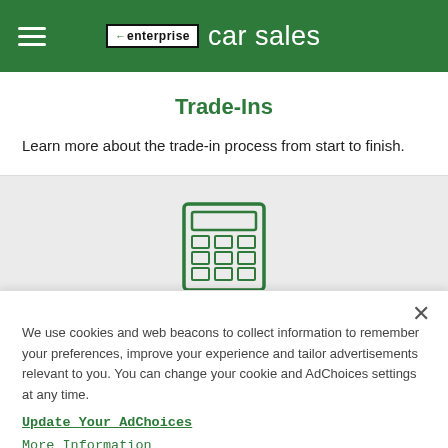enterprise car sales
Trade-Ins
Learn more about the trade-in process from start to finish.
[Figure (illustration): Calculator icon rendered in green outline style]
We use cookies and web beacons to collect information to remember your preferences, improve your experience and tailor advertisements relevant to you. You can change your cookie and AdChoices settings at any time.
Update Your AdChoices
More Information
Manage Your Settings